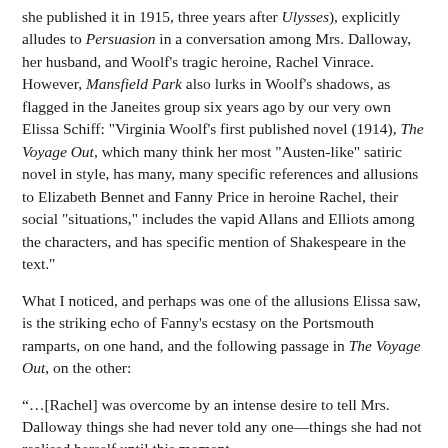she published it in 1915, three years after Ulysses), explicitly alludes to Persuasion in a conversation among Mrs. Dalloway, her husband, and Woolf's tragic heroine, Rachel Vinrace. However, Mansfield Park also lurks in Woolf's shadows, as flagged in the Janeites group six years ago by our very own Elissa Schiff: "Virginia Woolf's first published novel (1914), The Voyage Out, which many think her most "Austen-like" satiric novel in style, has many, many specific references and allusions to Elizabeth Bennet and Fanny Price in heroine Rachel, their social "situations," includes the vapid Allans and Elliots among the characters, and has specific mention of Shakespeare in the text."
What I noticed, and perhaps was one of the allusions Elissa saw, is the striking echo of Fanny's ecstasy on the Portsmouth ramparts, on one hand, and the following passage in The Voyage Out, on the other:
“…[Rachel] was overcome by an intense desire to tell Mrs. Dalloway things she had never told any one—things she had not realised herself until this moment.
"I am lonely," she began. "I want—" She did not know what she wanted, so that she could not finish the sentence; but her lip